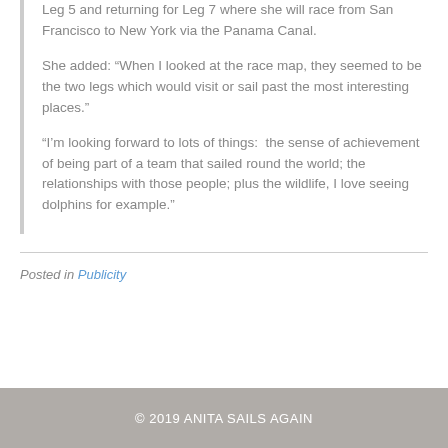Leg 5 and returning for Leg 7 where she will race from San Francisco to New York via the Panama Canal.
She added: “When I looked at the race map, they seemed to be the two legs which would visit or sail past the most interesting places.”
“I’m looking forward to lots of things:  the sense of achievement of being part of a team that sailed round the world; the relationships with those people; plus the wildlife, I love seeing dolphins for example.”
Posted in Publicity
© 2019 ANITA SAILS AGAIN